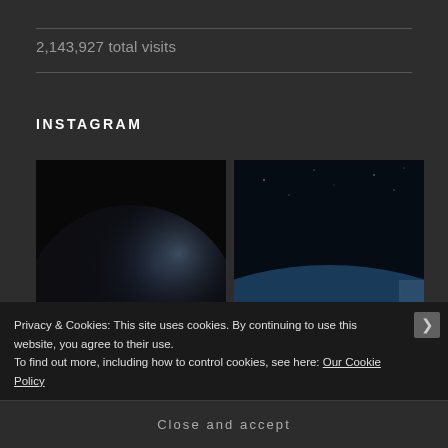2,143,927 total visits
INSTAGRAM
[Figure (photo): Dark image of a planet or moon silhouette against a black background, crescent lit edge visible]
[Figure (photo): View of Earth from space showing the curvature of the planet with blue atmosphere and cloud cover]
Privacy & Cookies: This site uses cookies. By continuing to use this website, you agree to their use.
To find out more, including how to control cookies, see here: Our Cookie Policy
Close and accept